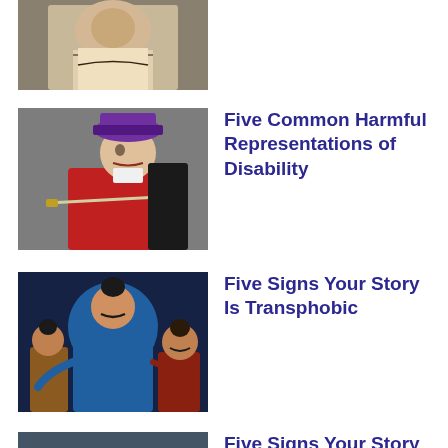[Figure (photo): Partially cropped photo of a person with arms crossed, wearing a necklace and light-colored top, with a dark background]
[Figure (illustration): Animated cartoon villain character (Captain Hook from Peter Pan) in red coat and purple hat, holding a sword]
Five Common Harmful Representations of Disability
[Figure (illustration): Animated cartoon characters from Mulan, including Shan Yu and sidekicks against dark blue background]
Five Signs Your Story Is Transphobic
[Figure (photo): Partially visible photo at bottom of page]
Five Signs Your Story